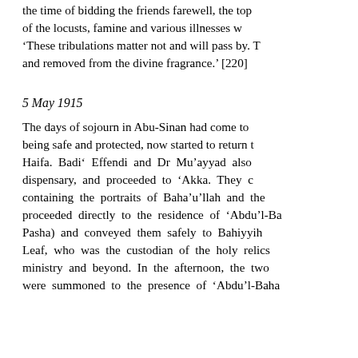the time of bidding the friends farewell, the top of the locusts, famine and various illnesses w 'These tribulations matter not and will pass by. T and removed from the divine fragrance.' [220]
5 May 1915
The days of sojourn in Abu-Sinan had come to being safe and protected, now started to return t Haifa. Badi' Effendi and Dr Mu'ayyad also dispensary, and proceeded to 'Akka. They c containing the portraits of Baha'u'llah and the proceeded directly to the residence of 'Abdu'l-Ba Pasha) and conveyed them safely to Bahiyyih Leaf, who was the custodian of the holy relics ministry and beyond. In the afternoon, the two were summoned to the presence of 'Abdu'l-Baha